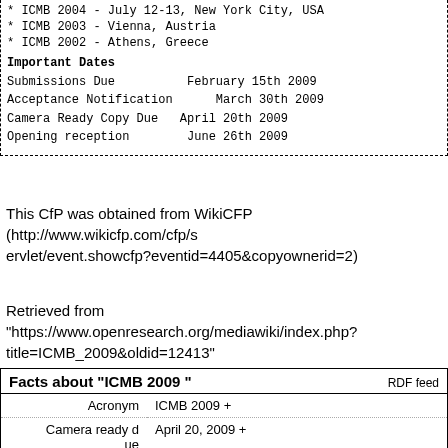* ICMB 2004 - July 12-13, New York City, USA
* ICMB 2003 - Vienna, Austria
* ICMB 2002 - Athens, Greece
Important Dates
Submissions Due          February 15th 2009
Acceptance Notification       March 30th 2009
Camera Ready Copy Due   April 20th 2009
Opening reception        June 26th 2009
This CfP was obtained from WikiCFP (http://www.wikicfp.com/cfp/servlet/event.showcfp?eventid=4405&copyownerid=2)
Retrieved from "https://www.openresearch.org/mediawiki/index.php?title=ICMB_2009&oldid=12413"
|  |  |
| --- | --- |
| Acronym | ICMB 2009 + |
| Camera ready due | April 20, 2009 + |
| End date | June 28, 2009 + |
| Event type | Conference + |
| Has coordinates | 38° 55' 5", 121° 37' 42" + |
| Has location city |  |